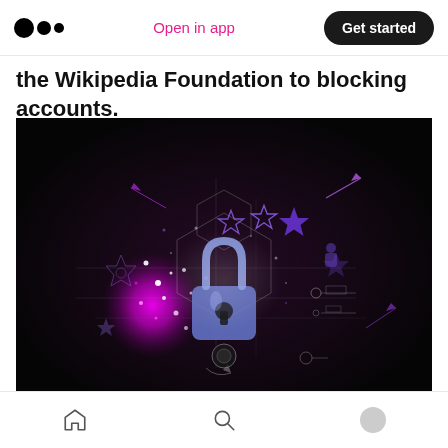Medium logo | Open in app | Get started
the Wikipedia Foundation to blocking accounts.
[Figure (photo): Digital security concept image showing a glowing purple padlock surrounded by circuit board elements, stars, and sparkling purple bokeh lights on a dark background.]
Image by Pete Linforth from Pixabay
Home | Search | Profile